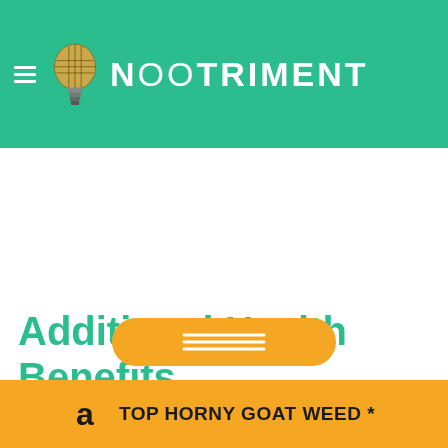NOOTRIMENT
Additional Health Benefits
Besides its enhr... ilin has been
[Figure (other): Orange pill/button with horizontal lines icon]
TOP HORNY GOAT WEED *